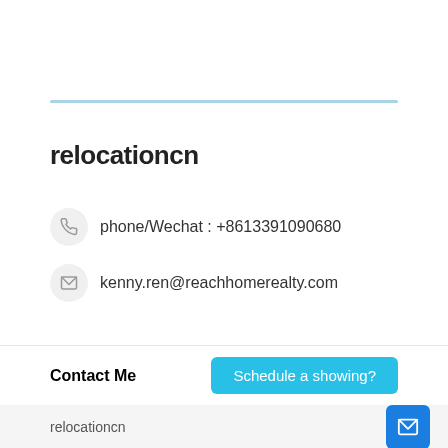relocationcn
phone/Wechat : +8613391090680
kenny.ren@reachhomerealty.com
Contact Me
Schedule a showing?
relocationcn